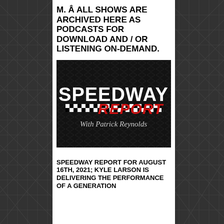M. Â ALL SHOWS ARE ARCHIVED HERE AS PODCASTS FOR DOWNLOAD AND / OR LISTENING ON-DEMAND.
[Figure (logo): Speedway Report with Patrick Reynolds logo on dark diamond-plate metal texture background]
SPEEDWAY REPORT FOR AUGUST 16TH, 2021; KYLE LARSON IS DELIVERING THE PERFORMANCE OF A GENERATION